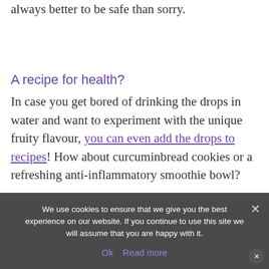medications, but if you're in doubt, it's always better to be safe than sorry.
A recipe for health?
In case you get bored of drinking the drops in water and want to experiment with the unique fruity flavour, you can even add the drops to recipes! How about curcuminbread cookies or a refreshing anti-inflammatory smoothie bowl?
We use cookies to ensure that we give you the best experience on our website. If you continue to use this site we will assume that you are happy with it.